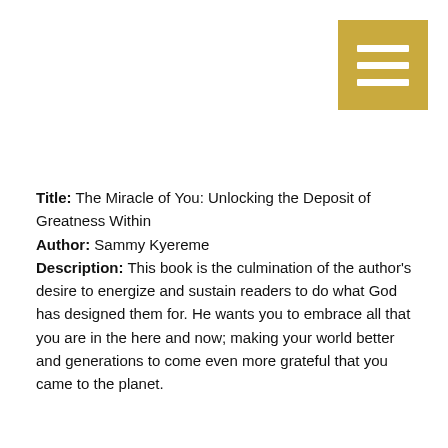[Figure (other): Gold/yellow square button with three white horizontal bars (hamburger menu icon) in the top-right corner]
Title: The Miracle of You: Unlocking the Deposit of Greatness Within
Author: Sammy Kyereme
Description: This book is the culmination of the author's desire to energize and sustain readers to do what God has designed them for. He wants you to embrace all that you are in the here and now; making your world better and generations to come even more grateful that you came to the planet.